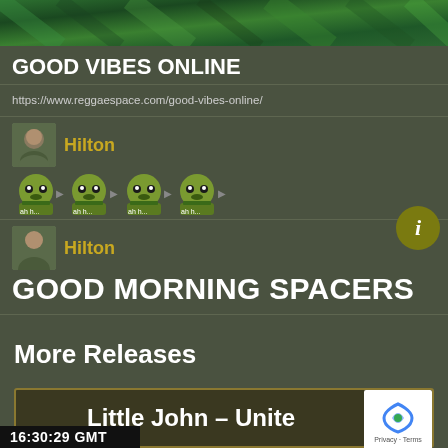[Figure (photo): Green textured banner image at the top of the page]
GOOD VIBES ONLINE
https://www.reggaespace.com/good-vibes-online/
Hilton
[Figure (illustration): Row of four animated reggae character emoji icons in green with sunglasses]
Hilton
GOOD MORNING SPACERS
More Releases
Little John – Unite
16:30:29  GMT